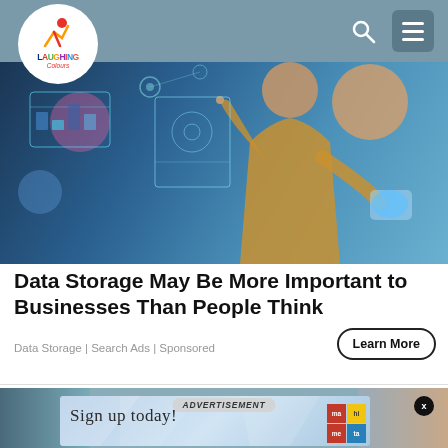Laughing Colours
[Figure (photo): Woman in gold dress interacting with digital holographic interface screens, holding a glowing tablet, with data visualizations floating around her. Technology/data concept image.]
Data Storage May Be More Important to Businesses Than People Think
Data Storage | Search Ads | Sponsored
[Figure (screenshot): Advertisement banner with 'ADVERTISEMENT' label, close X button, 'Sign up today!' text on blue geometric background, with mameta logo in corner. Background shows two people out of focus.]